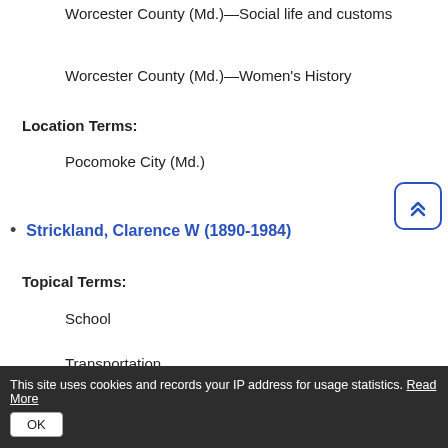Worcester County (Md.)—Social life and customs
Worcester County (Md.)—Women's History
Location Terms:
Pocomoke City (Md.)
Strickland, Clarence W (1890-1984)
Topical Terms:
School
Transportation
This site uses cookies and records your IP address for usage statistics. Read More
OK